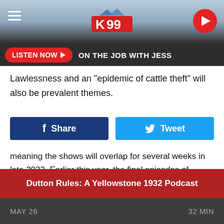K99 | ON THE JOB WITH JESS
Lawlessness and an "epidemic of cattle theft" will also be prevalent themes.
[Figure (other): Facebook Share button and Twitter Tweet button]
meaning the shows will overlap for several weeks in late 2022. Earlier this year, the final episodes of Season 4 overlapped with 1883, as well — in fact, scenes that depicted actors from 1883 were used to advance the story of Yellowstone.
Dutton Rules: A Yellowstone 1932 Podcast
MAY 26   32 MIN